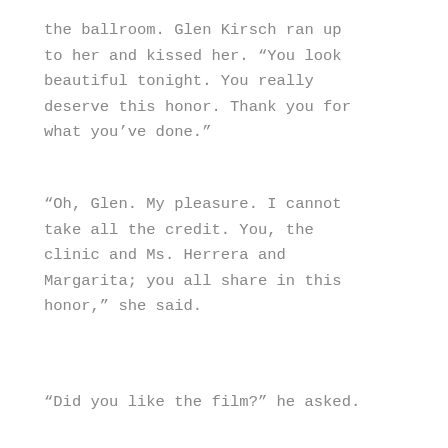the ballroom. Glen Kirsch ran up to her and kissed her. “You look beautiful tonight. You really deserve this honor. Thank you for what you’ve done.”
“Oh, Glen. My pleasure. I cannot take all the credit. You, the clinic and Ms. Herrera and Margarita; you all share in this honor,” she said.
“Did you like the film?” he asked.